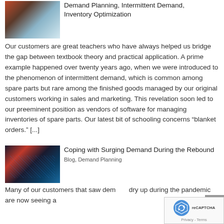[Figure (photo): Photo of industrial barrels/containers, supply chain related]
Demand Planning, Intermittent Demand, Inventory Optimization
Our customers are great teachers who have always helped us bridge the gap between textbook theory and practical application. A prime example happened over twenty years ago, when we were introduced to the phenomenon of intermittent demand, which is common among spare parts but rare among the finished goods managed by our original customers working in sales and marketing. This revelation soon led to our preeminent position as vendors of software for managing inventories of spare parts. Our latest bit of schooling concerns “blanket orders.” [...]
[Figure (photo): Dark background with red tie and stock market chart lines, business/finance theme]
Coping with Surging Demand During the Rebound
Blog, Demand Planning
Many of our customers that saw dem dry up during the pandemic are now seeing a